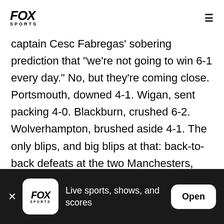FOX SPORTS
captain Cesc Fabregas' sobering prediction that "we're not going to win 6-1 every day." No, but they're coming close. Portsmouth, downed 4-1. Wigan, sent packing 4-0. Blackburn, crushed 6-2. Wolverhampton, brushed aside 4-1. The only blips, and big blips at that: back-to-back defeats at the two Manchesters, United and City, and a 2-2 draw at West Ham that left a straw to clutch to for those who argue that Arsenal still isn't ruthless enough in closing down games when ahead. Neutrals and those
[Figure (screenshot): Fox Sports app install banner at bottom of screen with Fox Sports logo, text 'Live sports, shows, and scores', and an Open button]